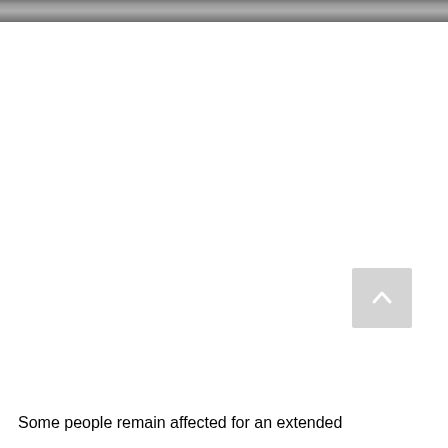[Figure (photo): Partial view of a dark grayish textured surface or material, visible as a horizontal strip at the very top of the page, cut off at the bottom edge.]
[Figure (other): A light gray square button with an upward-pointing arrow icon, positioned in the lower-right area of the page, functioning as a scroll-to-top button.]
Some people remain affected for an extended